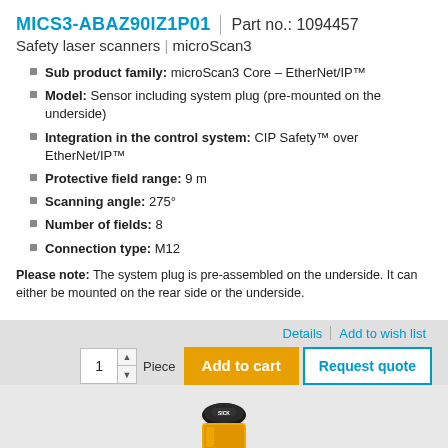MICS3-ABAZ90IZ1P01 | Part no.: 1094457
Safety laser scanners | microScan3
Sub product family: microScan3 Core – EtherNet/IP™
Model: Sensor including system plug (pre-mounted on the underside)
Integration in the control system: CIP Safety™ over EtherNet/IP™
Protective field range: 9 m
Scanning angle: 275°
Number of fields: 8
Connection type: M12
Please note: The system plug is pre-assembled on the underside. It can either be mounted on the rear side or the underside.
Details | Add to wish list
1 Pieces  Add to cart  Request quote
[Figure (photo): Yellow and black safety laser scanner device (microScan3) partially visible at bottom of page]